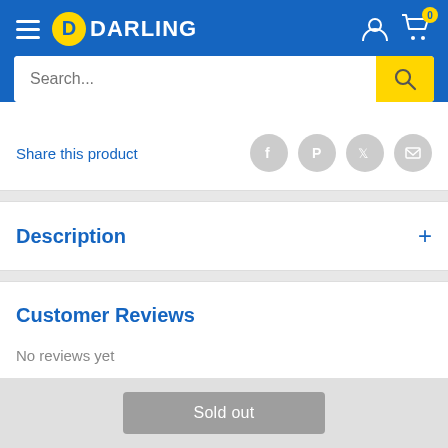DARLING
Share this product
Description
Customer Reviews
No reviews yet
Sold out